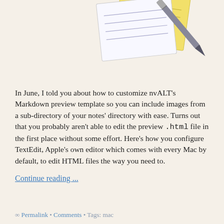[Figure (illustration): Illustration of stacked index cards (white and yellow) with a pen/pencil resting on top, partially visible at the top of the page]
In June, I told you about how to customize nvALT's Markdown preview template so you can include images from a sub-directory of your notes' directory with ease. Turns out that you probably aren't able to edit the preview .html file in the first place without some effort. Here's how you configure TextEdit, Apple's own editor which comes with every Mac by default, to edit HTML files the way you need to.
Continue reading ...
∞ Permalink • Comments • Tags: mac